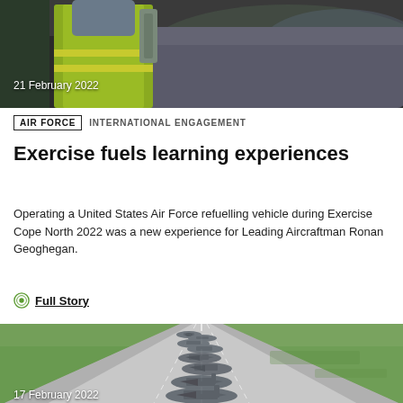[Figure (photo): Person in high-visibility vest working near aircraft equipment, with date label 21 February 2022]
21 February 2022
AIR FORCE  INTERNATIONAL ENGAGEMENT
Exercise fuels learning experiences
Operating a United States Air Force refuelling vehicle during Exercise Cope North 2022 was a new experience for Leading Aircraftman Ronan Geoghegan.
Full Story
[Figure (photo): Aerial view of multiple military aircraft lined up on a runway taxiway during Exercise Cope North, date partially visible at bottom]